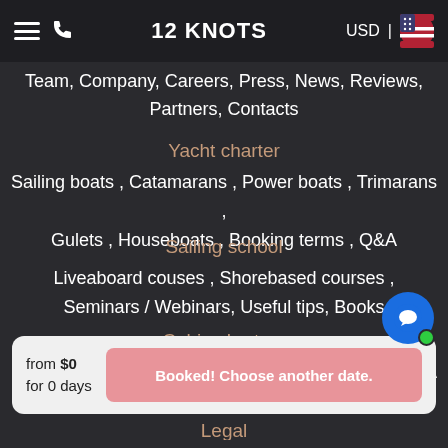12 KNOTS | USD
Team, Company, Careers, Press, News, Reviews, Partners, Contacts
Yacht charter
Sailing boats, Catamarans, Power boats, Trimarans, Gulets, Houseboats, Booking terms, Q&A
Sailing school
Liveaboard couses, Shorebased courses, Seminars / Webinars, Useful tips, Books
Cabin charters
Destinations, Regatta, Cruises, Booking terms, Q&A
from $0
for 0 days
Booked! Choose another date.
Legal